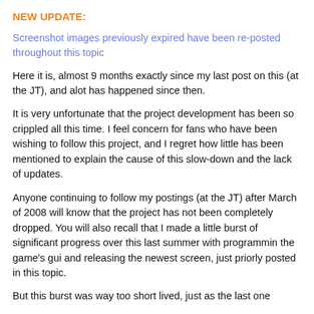NEW UPDATE:
Screenshot images previously expired have been re-posted throughout this topic
Here it is, almost 9 months exactly since my last post on this (at the JT), and alot has happened since then.
It is very unfortunate that the project development has been so crippled all this time. I feel concern for fans who have been wishing to follow this project, and I regret how little has been mentioned to explain the cause of this slow-down and the lack of updates.
Anyone continuing to follow my postings (at the JT) after March of 2008 will know that the project has not been completely dropped. You will also recall that I made a little burst of significant progress over this last summer with programmin the game's gui and releasing the newest screen, just priorly posted in this topic.
But this burst was way too short lived, just as the last one